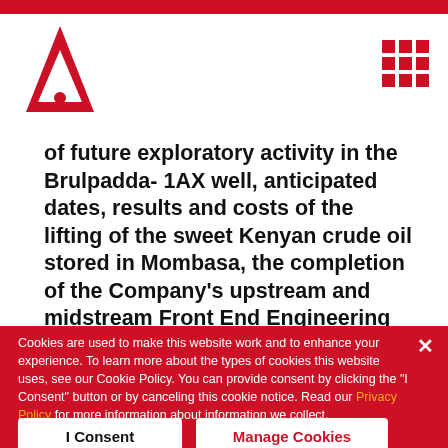[Figure (logo): Red triangle/arrow logo (Tullow Oil or similar energy company) in top left]
[Figure (other): Red 3x3 grid/menu icon in top right]
of future exploratory activity in the Brulpadda- 1AX well, anticipated dates, results and costs of the lifting of the sweet Kenyan crude oil stored in Mombasa, the completion of the Company's upstream and midstream Front End Engineering and Design studies, the completion of the Company's
Cookies are used to make this website work and to enhance your experience. To learn more about the types of cookies this website uses, see our Cookie Policy. You can provide consent by clicking the "I Consent" button or by canceling this cookie notice. Read our Privacy Policy for more information about information we collect.
I Consent
Manage Cookies